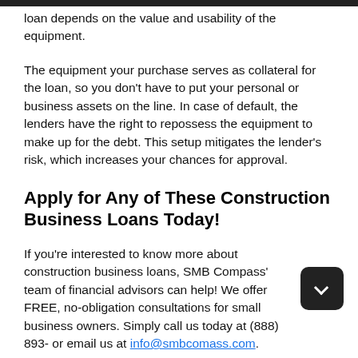loan depends on the value and usability of the equipment.
The equipment your purchase serves as collateral for the loan, so you don't have to put your personal or business assets on the line. In case of default, the lenders have the right to repossess the equipment to make up for the debt. This setup mitigates the lender's risk, which increases your chances for approval.
Apply for Any of These Construction Business Loans Today!
If you're interested to know more about construction business loans, SMB Compass' team of financial advisors can help! We offer FREE, no-obligation consultations for small business owners. Simply call us today at (888) 893- or email us at info@smbcomass.com.